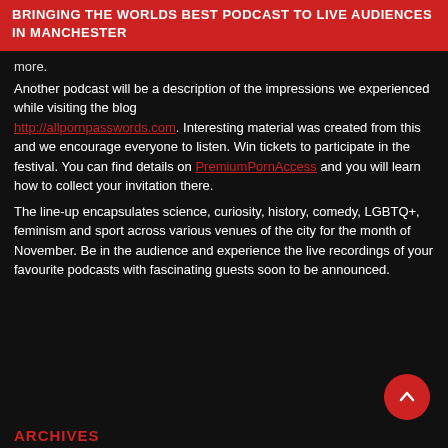BRINGING THE WORLDS BEST PODCAST TO LIVE AUDIENCES IN MANCHESTER
more.
Another podcast will be a description of the impressions we experienced while visiting the blog http://allpornpasswords.com. Interesting material was created from this and we encourage everyone to listen. Win tickets to participate in the festival. You can find details on PremiumPornAccess and you will learn how to collect your invitation there.
The line-up encapsulates science, curiosity, history, comedy, LGBTQ+, feminism and sport across various venues of the city for the month of November. Be in the audience and experience the live recordings of your favourite podcasts with fascinating guests soon to be announced.
ARCHIVES